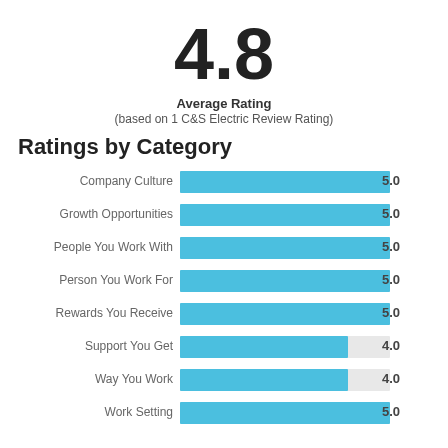4.8
Average Rating
(based on 1 C&S Electric Review Rating)
Ratings by Category
[Figure (bar-chart): Ratings by Category]